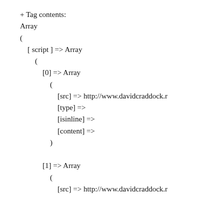+ Tag contents:
Array
(
    [ script ] => Array
        (
            [0] => Array
                (
                    [src] => http://www.davidcraddock.r
                    [type] =>
                    [isinline] =>
                    [content] =>
                )

            [1] => Array
                (
                    [src] => http://www.davidcraddock.r